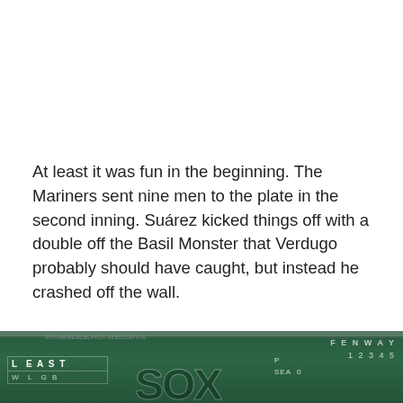At least it was fun in the beginning. The Mariners sent nine men to the plate in the second inning. Suárez kicked things off with a double off the Basil Monster that Verdugo probably should have caught, but instead he crashed off the wall.
[Figure (photo): A close-up photo of the Fenway Park scoreboard (green wall). Visible text includes 'FENWAY', 'L EAST', 'W L GB', 'P', '1 2 3 4 5', 'SEA 0', and a partial Red Sox logo. The scoreboard is dark green with white lettering.]